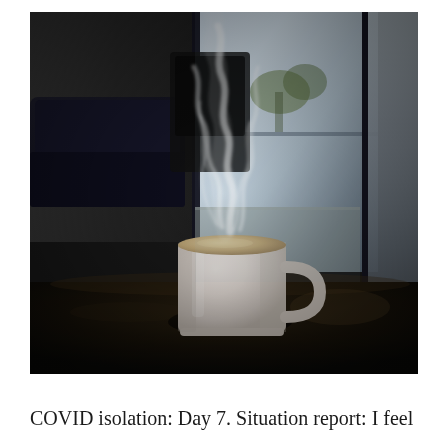[Figure (photo): A steaming white/light pink ceramic coffee mug sitting on a dark table. Dramatic wispy white steam rises from the hot beverage. The background shows a dark interior with a window revealing an outdoor scene with trees and a patio. A dark sofa or furniture is visible to the left. The lighting is natural with sunlight streaming through the window.]
COVID isolation: Day 7. Situation report: I feel